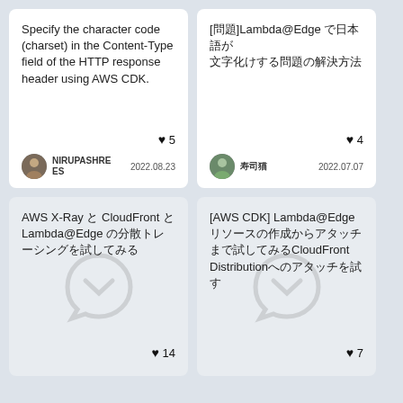Specify the character code (charset) in the Content-Type field of the HTTP response header using AWS CDK.
♥ 5
NIRUPASHREES  2022.08.23
[問題]Lambda@Edge で日本語が文字化けする問題の解決方法
♥ 4
寿司猫  2022.07.07
AWS X-Ray で CloudFront と Lambda@Edge の分散トレーシングを試してみる
♥ 14
[AWS CDK] Lambda@Edgeリソースの作成から CloudFront Distributionへのアタッチを試す
♥ 7